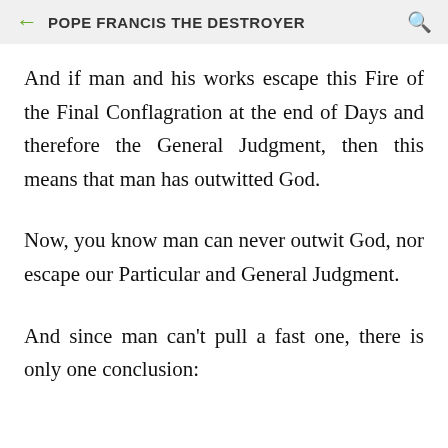POPE FRANCIS THE DESTROYER
And if man and his works escape this Fire of the Final Conflagration at the end of Days and therefore the General Judgment, then this means that man has outwitted God.
Now, you know man can never outwit God, nor escape our Particular and General Judgment.
And since man can't pull a fast one, there is only one conclusion: